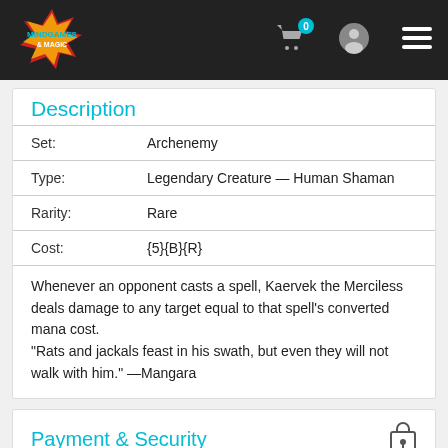Mindgames & Magic navigation bar with cart, user, and menu icons
Description
| Field | Value |
| --- | --- |
| Set: | Archenemy |
| Type: | Legendary Creature — Human Shaman |
| Rarity: | Rare |
| Cost: | {5}{B}{R} |
Whenever an opponent casts a spell, Kaervek the Merciless deals damage to any target equal to that spell's converted mana cost.
"Rats and jackals feast in his swath, but even they will not walk with him." —Mangara
Payment & Security